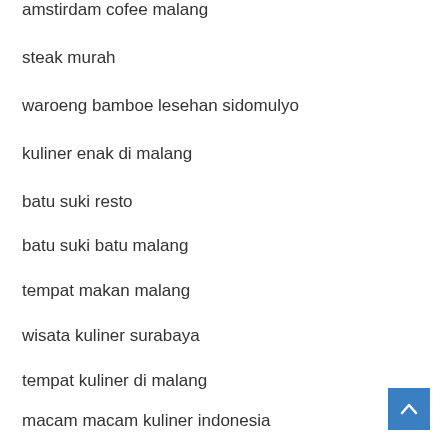amstirdam cofee malang
steak murah
waroeng bamboe lesehan sidomulyo
kuliner enak di malang
batu suki resto
batu suki batu malang
tempat makan malang
wisata kuliner surabaya
tempat kuliner di malang
macam macam kuliner indonesia
pia mangkok malang di surabaya